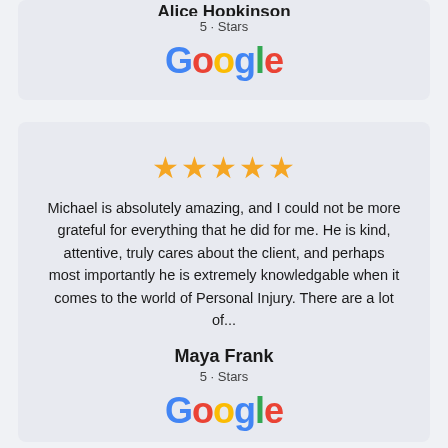Alice Hopkinson
5-Stars
[Figure (logo): Google logo in multicolor text]
★★★★★
Michael is absolutely amazing, and I could not be more grateful for everything that he did for me. He is kind, attentive, truly cares about the client, and perhaps most importantly he is extremely knowledgable when it comes to the world of Personal Injury. There are a lot of...
Maya Frank
5-Stars
[Figure (logo): Google logo in multicolor text]